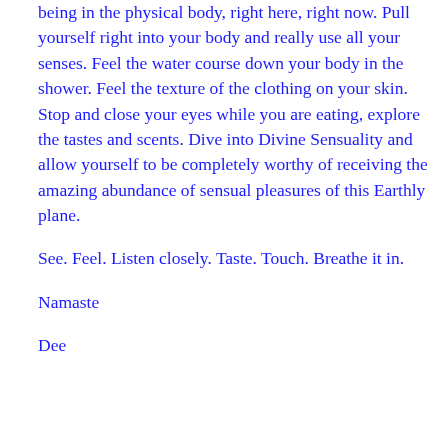being in the physical body, right here, right now. Pull yourself right into your body and really use all your senses. Feel the water course down your body in the shower. Feel the texture of the clothing on your skin. Stop and close your eyes while you are eating, explore the tastes and scents. Dive into Divine Sensuality and allow yourself to be completely worthy of receiving the amazing abundance of sensual pleasures of this Earthly plane.
See. Feel. Listen closely. Taste. Touch. Breathe it in.
Namaste
Dee